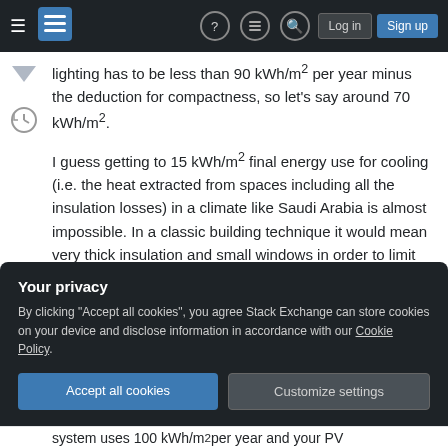Stack Exchange navigation bar with hamburger menu, logo, help, chat, search icons, Log in and Sign up buttons
lighting has to be less than 90 kWh/m² per year minus the deduction for compactness, so let's say around 70 kWh/m².
I guess getting to 15 kWh/m² final energy use for cooling (i.e. the heat extracted from spaces including all the insulation losses) in a climate like Saudi Arabia is almost impossible. In a classic building technique it would mean very thick insulation and small windows in order to limit solar heat loads through fenestrations.
Your privacy
By clicking "Accept all cookies", you agree Stack Exchange can store cookies on your device and disclose information in accordance with our Cookie Policy.
Accept all cookies  Customize settings
system uses 100 kWh/m² per year and your PV